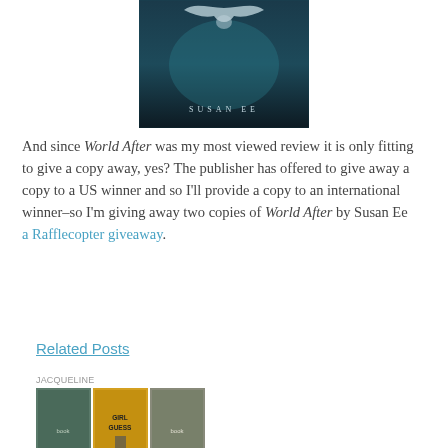[Figure (photo): Book cover of 'World After' by Susan Ee — dark blue/teal textured background with what appears to be a bat or wing silhouette at the top, and the author name 'SUSAN EE' in spaced capital letters near the bottom.]
And since World After was my most viewed review it is only fitting to give a copy away, yes? The publisher has offered to give away a copy to a US winner and so I'll provide a copy to an international winner–so I'm giving away two copies of World After by Susan Ee a Rafflecopter giveaway.
Related Posts
[Figure (photo): Small thumbnail image showing a collage of three book covers including 'Girl Guess' and two others.]